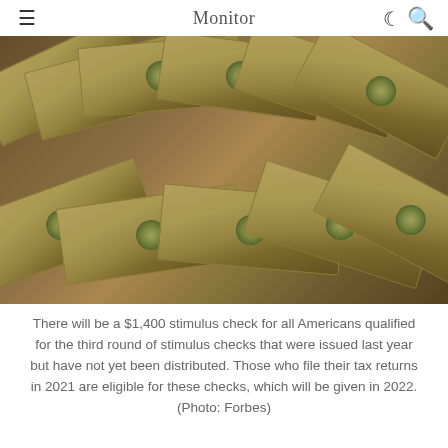Monitor
[Figure (photo): Fanned out US $100 dollar bills spread on a surface, photographed from above showing multiple bills with Benjamin Franklin portraits and green seals visible]
There will be a $1,400 stimulus check for all Americans qualified for the third round of stimulus checks that were issued last year but have not yet been distributed. Those who file their tax returns in 2021 are eligible for these checks, which will be given in 2022. (Photo: Forbes)